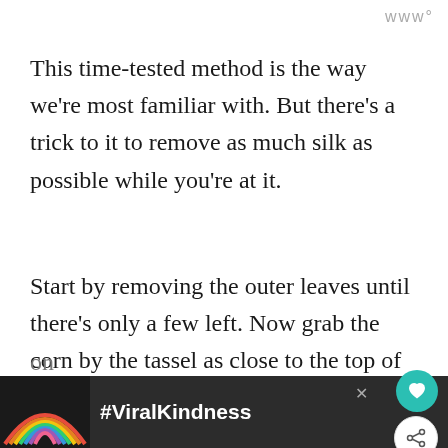www°
This time-tested method is the way we're most familiar with. But there's a trick to it to remove as much silk as possible while you're at it.
Start by removing the outer leaves until there's only a few left. Now grab the corn by the tassel as close to the top of the corn as y can and pull the leaves off. Most of the silk should come away with it too. Do the same
on
[Figure (infographic): #ViralKindness advertisement banner with rainbow illustration]